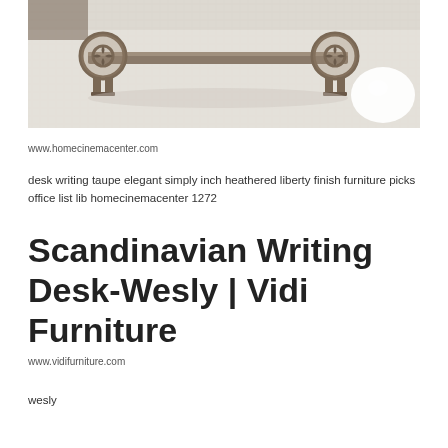[Figure (photo): A wooden Scandinavian-style writing desk with decorative carved ends, placed on a shaggy white carpet, photographed from a low angle. A white spherical object is partially visible on the right.]
www.homecinemacenter.com
desk writing taupe elegant simply inch heathered liberty finish furniture picks office list lib homecinemacenter 1272
Scandinavian Writing Desk-Wesly | Vidi Furniture
www.vidifurniture.com
wesly